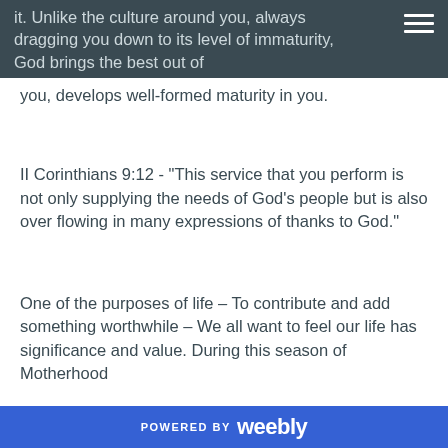it. Unlike the culture around you, always dragging you down to its level of immaturity, God brings the best out of
you, develops well-formed maturity in you.
II Corinthians 9:12 - “This service that you perform is not only supplying the needs of God’s people but is also over flowing in many expressions of thanks to God.”
One of the purposes of life – To contribute and add something worthwhile – We all want to feel our life has significance and value. During this season of Motherhood
POWERED BY weebly